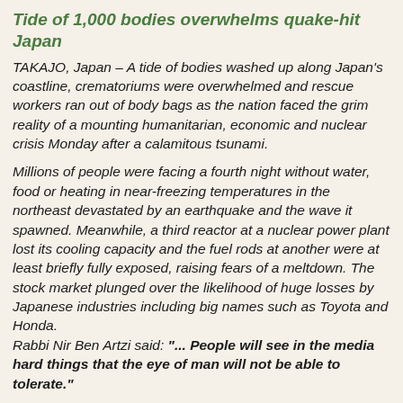Tide of 1,000 bodies overwhelms quake-hit Japan
TAKAJO, Japan – A tide of bodies washed up along Japan's coastline, crematoriums were overwhelmed and rescue workers ran out of body bags as the nation faced the grim reality of a mounting humanitarian, economic and nuclear crisis Monday after a calamitous tsunami.
Millions of people were facing a fourth night without water, food or heating in near-freezing temperatures in the northeast devastated by an earthquake and the wave it spawned. Meanwhile, a third reactor at a nuclear power plant lost its cooling capacity and the fuel rods at another were at least briefly fully exposed, raising fears of a meltdown. The stock market plunged over the likelihood of huge losses by Japanese industries including big names such as Toyota and Honda.
Rabbi Nir Ben Artzi said: "... People will see in the media hard things that the eye of man will not be able to tolerate."
Rabbi Ben Artzi's website is claiming that in his weekly shiur on Friday morning, 11 Mar '11, the rabbi was speaking about